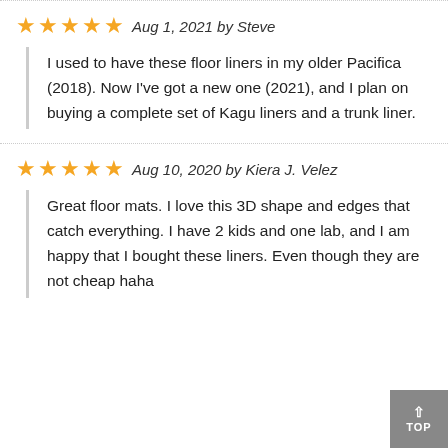★★★★★ Aug 1, 2021 by Steve
I used to have these floor liners in my older Pacifica (2018). Now I've got a new one (2021), and I plan on buying a complete set of Kagu liners and a trunk liner.
★★★★★ Aug 10, 2020 by Kiera J. Velez
Great floor mats. I love this 3D shape and edges that catch everything. I have 2 kids and one lab, and I am happy that I bought these liners. Even though they are not cheap haha